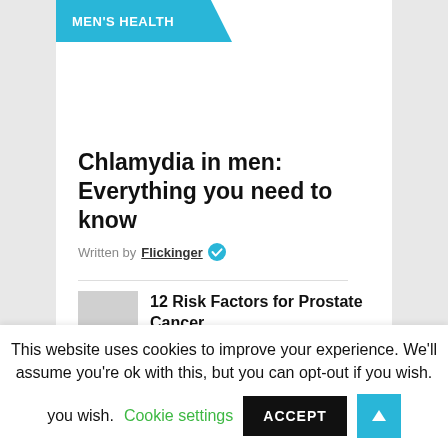MEN'S HEALTH
Chlamydia in men: Everything you need to know
Written by Flickinger ✓
12 Risk Factors for Prostate Cancer
by Flickinger ✓
Orgasmic dysfunction:
This website uses cookies to improve your experience. We'll assume you're ok with this, but you can opt-out if you wish. Cookie settings ACCEPT